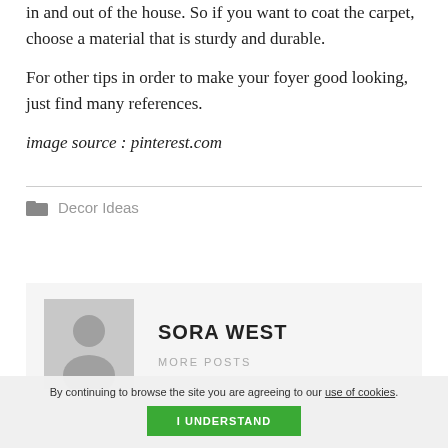in and out of the house. So if you want to coat the carpet, choose a material that is sturdy and durable.
For other tips in order to make your foyer good looking, just find many references.
image source : pinterest.com
Decor Ideas
SORA WEST
MORE POSTS
By continuing to browse the site you are agreeing to our use of cookies.
I UNDERSTAND